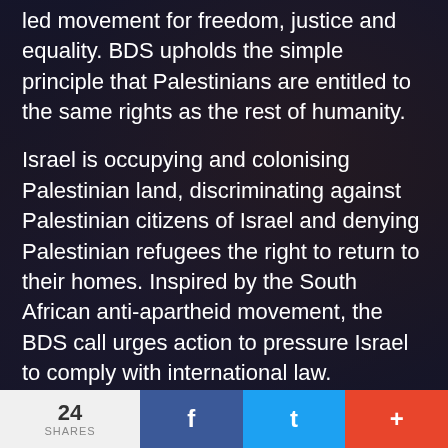led movement for freedom, justice and equality. BDS upholds the simple principle that Palestinians are entitled to the same rights as the rest of humanity.
Israel is occupying and colonising Palestinian land, discriminating against Palestinian citizens of Israel and denying Palestinian refugees the right to return to their homes. Inspired by the South African anti-apartheid movement, the BDS call urges action to pressure Israel to comply with international law.
BDS is now a vibrant global movement made up of unions, academic associations, churches and grassroots movements across the world. Eleven
24 SHARES  f  t  +